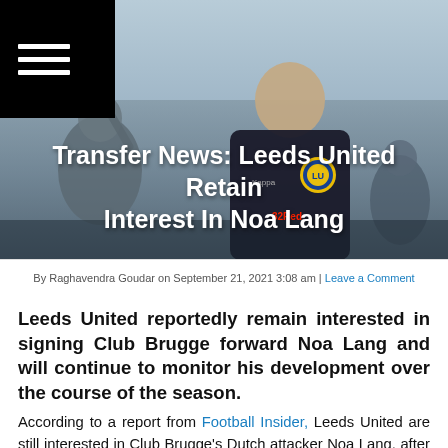[Figure (photo): Hero image of a bald man in a Leeds United branded jacket (32Red sponsor, Leeds United badge visible), photographed outdoors with other people in background. Black menu/hamburger icon box in top-left corner.]
Transfer News: Leeds United Retain Interest In Noa Lang
By Raghavendra Goudar on September 21, 2021 3:08 am | Leave a Comment
Leeds United reportedly remain interested in signing Club Brugge forward Noa Lang and will continue to monitor his development over the course of the season.
According to a report from Football Insider, Leeds United are still interested in Club Brugge's Dutch attacker Noa Lang, after failing with an attempt to sign him in the